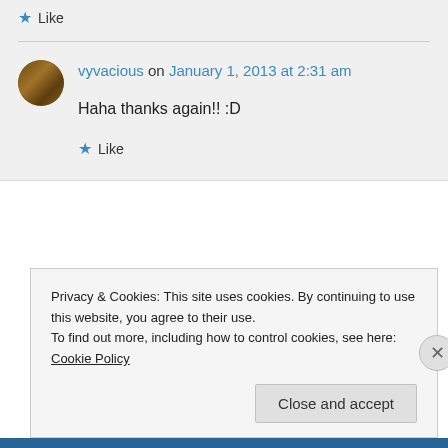Like
vyvacious on January 1, 2013 at 2:31 am
Haha thanks again!! :D
Like
Privacy & Cookies: This site uses cookies. By continuing to use this website, you agree to their use.
To find out more, including how to control cookies, see here: Cookie Policy
Close and accept